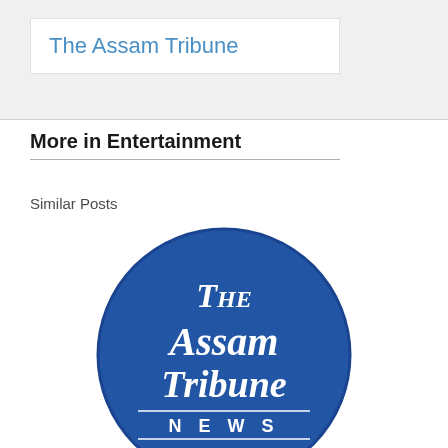The Assam Tribune
More in Entertainment
Similar Posts
[Figure (logo): The Assam Tribune News circular logo — a blue circle with white old-English-style text reading 'The Assam Tribune' and 'N E W S' below a horizontal line]